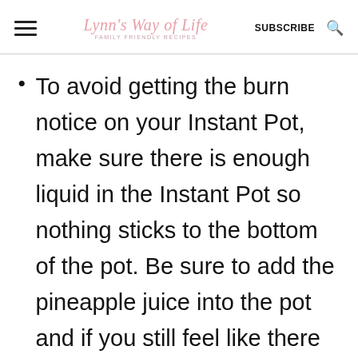Lynn's Way of Life — FAMILY FRIENDLY RECIPES — SUBSCRIBE
To avoid getting the burn notice on your Instant Pot, make sure there is enough liquid in the Instant Pot so nothing sticks to the bottom of the pot. Be sure to add the pineapple juice into the pot and if you still feel like there is not enough liquid, add 1 cup of